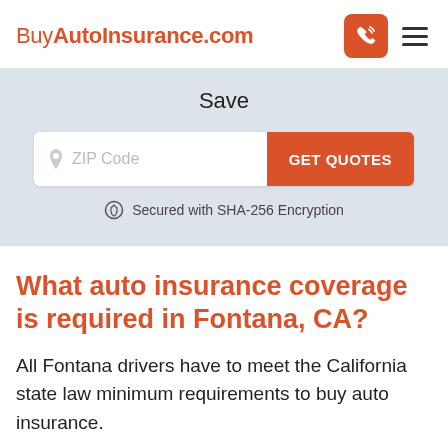[Figure (logo): BuyAutoInsurance.com logo in orange/red with phone and hamburger menu icons]
Save
[Figure (screenshot): ZIP Code input field with GET QUOTES orange button, and 'Secured with SHA-256 Encryption' text below]
What auto insurance coverage is required in Fontana, CA?
All Fontana drivers have to meet the California state law minimum requirements to buy auto insurance.